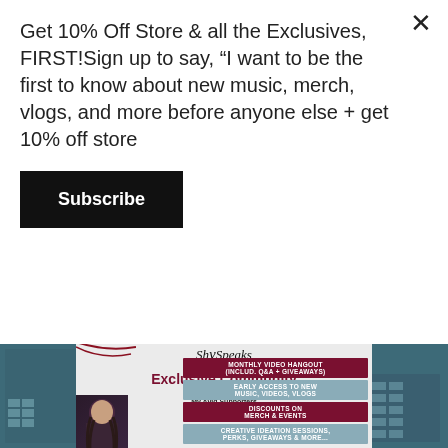Get 10% Off Store & all the Exclusives, FIRST!Sign up to say, “I want to be the first to know about new music, merch, vlogs, and more before anyone else + get 10% off store
Subscribe
[Figure (screenshot): Screenshot of ShySpeaks Exclusive Community membership promotional card showing logo, title 'Exclusive Community ...with benefits for you!', 'My Avid Supporters' section with benefits listed: Monthly Video Hangout (includ. Q&A + Giveaways), Early Access to New Music, Videos, Vlogs, Discounts on Merch & Events, Creative Ideation Sessions, Perks, Giveaways & More. A woman with braids is visible on the lower left of the card. Background is a teal/blue-gray gym or warehouse interior.]